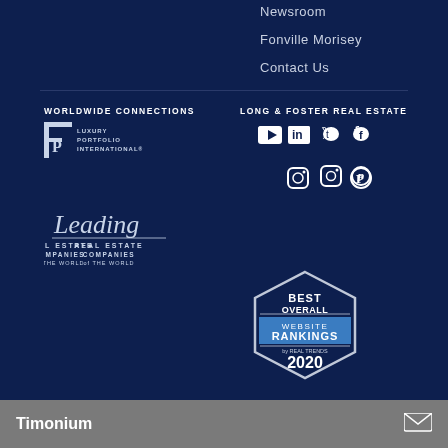Newsroom
Fonville Morisey
Contact Us
WORLDWIDE CONNECTIONS
[Figure (logo): Luxury Portfolio International logo]
[Figure (logo): Leading Real Estate Companies of the World logo]
LONG & FOSTER REAL ESTATE
[Figure (other): Social media icons: YouTube, LinkedIn, Twitter, Facebook, Instagram, Pinterest]
[Figure (other): Best Overall Website Rankings by Real Trends 2020 badge/seal]
Timonium